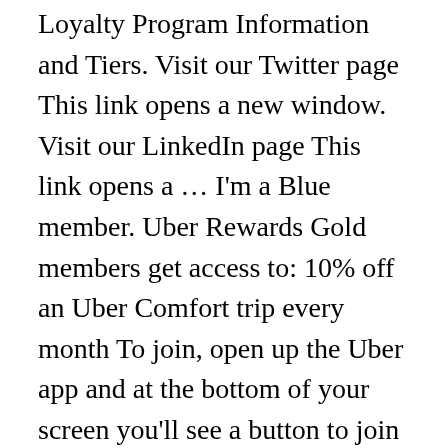Loyalty Program Information and Tiers. Visit our Twitter page This link opens a new window. Visit our LinkedIn page This link opens a ... I'm a Blue member. Uber Rewards Gold members get access to: 10% off an Uber Comfort trip every month To join, open up the Uber app and at the bottom of your screen you'll see a button to join the Uber Rewards, click on that and hit join. Diamond benefits include premium support for both rides and Eats, matching you with more highly-rated drivers, 3 Uber Eats orders with a $0 delivery fee, as well as complimentary ride upgrades when available. Uber Rewards Gold. That's because when you join Uber Rewards, the system will check how many points you've